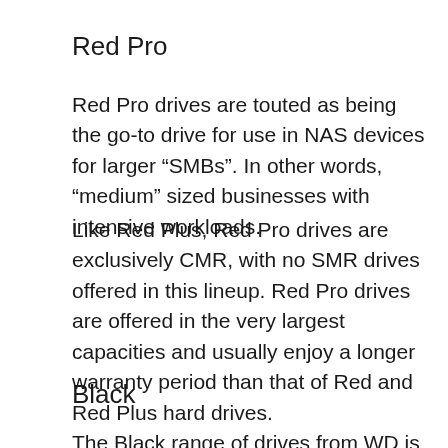Red Pro
Red Pro drives are touted as being the go-to drive for use in NAS devices for larger “SMBs”. In other words, “medium” sized businesses with intensive workloads.
Like Red Plus, Red Pro drives are exclusively CMR, with no SMR drives offered in this lineup. Red Pro drives are offered in the very largest capacities and usually enjoy a longer warranty period than that of Red and Red Plus hard drives.
Black
The Black range of drives from WD is aimed